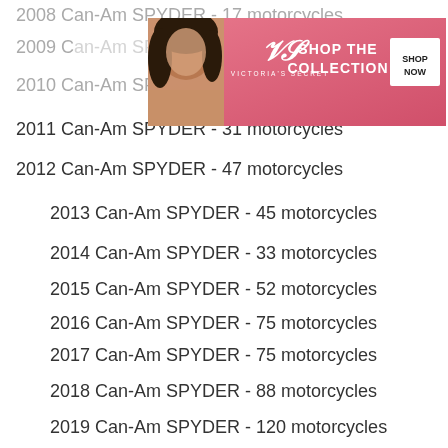2008 Can-Am SPYDER - 17 motorcycles
[Figure (other): Victoria's Secret advertisement banner with model photo, VS logo, 'SHOP THE COLLECTION' text, and 'SHOP NOW' button]
2009 Can-Am SPYDER - (partially obscured)
2010 Can-Am SPYDER - 27 motorcycles
2011 Can-Am SPYDER - 31 motorcycles
2012 Can-Am SPYDER - 47 motorcycles
2013 Can-Am SPYDER - 45 motorcycles
2014 Can-Am SPYDER - 33 motorcycles
2015 Can-Am SPYDER - 52 motorcycles
2016 Can-Am SPYDER - 75 motorcycles
2017 Can-Am SPYDER - 75 motorcycles
2018 Can-Am SPYDER - 88 motorcycles
2019 Can-Am SPYDER - 120 motorcycles
2020 Can-Am SPYDER - 103 motorcycles
2021 Can-Am SPYDER - 148 motorcycles